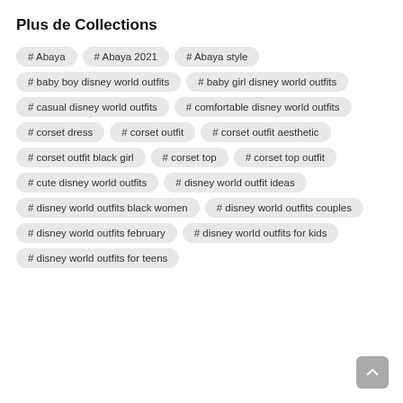Plus de Collections
# Abaya
# Abaya 2021
# Abaya style
# baby boy disney world outfits
# baby girl disney world outfits
# casual disney world outfits
# comfortable disney world outfits
# corset dress
# corset outfit
# corset outfit aesthetic
# corset outfit black girl
# corset top
# corset top outfit
# cute disney world outfits
# disney world outfit ideas
# disney world outfits black women
# disney world outfits couples
# disney world outfits february
# disney world outfits for kids
# disney world outfits for teens